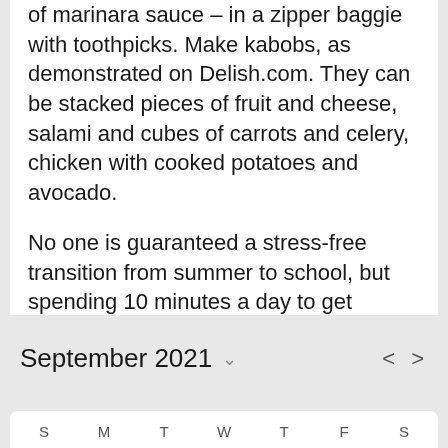of marinara sauce – in a zipper baggie with toothpicks. Make kabobs, as demonstrated on Delish.com. They can be stacked pieces of fruit and cheese, salami and cubes of carrots and celery, chicken with cooked potatoes and avocado.
No one is guaranteed a stress-free transition from summer to school, but spending 10 minutes a day to get organized is a big step toward it.
September 2021